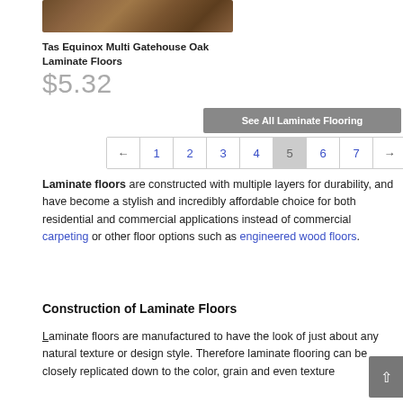[Figure (photo): Partial view of wood laminate flooring texture in brown tones]
Tas Equinox Multi Gatehouse Oak Laminate Floors
$5.32
See All Laminate Flooring
← 1 2 3 4 5 6 7 →
Laminate floors are constructed with multiple layers for durability, and have become a stylish and incredibly affordable choice for both residential and commercial applications instead of commercial carpeting or other floor options such as engineered wood floors.
Construction of Laminate Floors
Laminate floors are manufactured to have the look of just about any natural texture or design style. Therefore laminate flooring can be closely replicated down to the color, grain and even texture